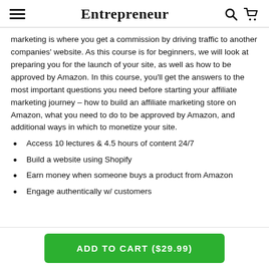Entrepreneur
marketing is where you get a commission by driving traffic to another companies' website. As this course is for beginners, we will look at preparing you for the launch of your site, as well as how to be approved by Amazon. In this course, you'll get the answers to the most important questions you need before starting your affiliate marketing journey – how to build an affiliate marketing store on Amazon, what you need to do to be approved by Amazon, and additional ways in which to monetize your site.
Access 10 lectures & 4.5 hours of content 24/7
Build a website using Shopify
Earn money when someone buys a product from Amazon
Engage authentically w/ customers
ADD TO CART ($29.99)